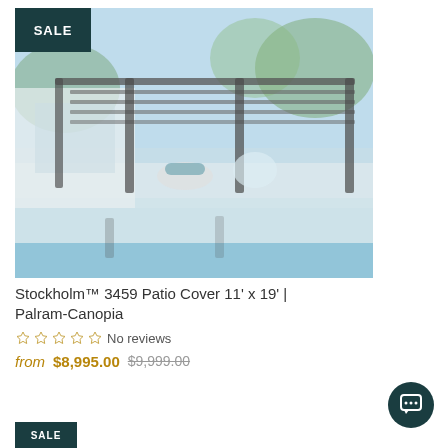[Figure (photo): Patio pergola/cover structure with aluminum frame over pool deck area, with SALE badge overlay in top-left corner]
Stockholm™ 3459 Patio Cover 11' x 19' | Palram-Canopia
No reviews
from $8,995.00 $9,999.00